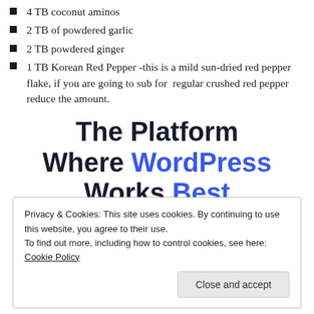4 TB coconut aminos
2 TB of powdered garlic
2 TB powdered ginger
1 TB Korean Red Pepper -this is a mild sun-dried red pepper flake, if you are going to sub for  regular crushed red pepper reduce the amount.
The Platform Where WordPress Works Best
Privacy & Cookies: This site uses cookies. By continuing to use this website, you agree to their use.
To find out more, including how to control cookies, see here: Cookie Policy
Close and accept